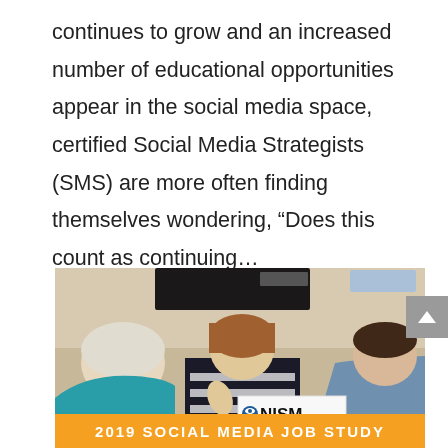continues to grow and an increased number of educational opportunities appear in the social media space, certified Social Media Strategists (SMS) are more often finding themselves wondering, “Does this count as continuing…
[Figure (photo): Three people in a meeting room, one woman in center speaking with a NISM (National Institute for Social Media) sign visible. An orange banner at the bottom reads '2019 SOCIAL MEDIA JOB STUDY'.]